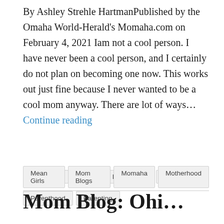By Ashley Strehle HartmanPublished by the Omaha World-Herald's Momaha.com on February 4, 2021 Iam not a cool person. I have never been a cool person, and I certainly do not plan on becoming one now. This works out just fine because I never wanted to be a cool mom anyway. There are lot of ways… Continue reading
Mean Girls
Mom Blogs
Momaha
Motherhood
Parenthood
Parenting
Mom Blog: Ohi...